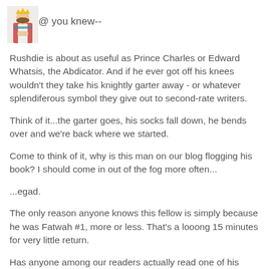[Figure (photo): Small avatar image of a religious figure (woman in pink/red robes with a crown) used as a social media profile picture]
@ you knew--
Rushdie is about as useful as Prince Charles or Edward Whatsis, the Abdicator. And if he ever got off his knees wouldn't they take his knightly garter away - or whatever splendiferous symbol they give out to second-rate writers.
Think of it...the garter goes, his socks fall down, he bends over and we're back where we started.
Come to think of it, why is this man on our blog flogging his book? I should come in out of the fog more often...
...egad.
The only reason anyone knows this fellow is simply because he was Fatwah #1, more or less. That's a looong 15 minutes for very little return.
Has anyone among our readers actually read one of his books?